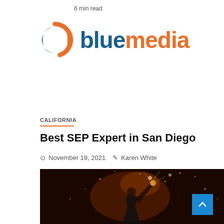6 min read
[Figure (logo): bluemedia logo with swirl icon in blue and orange, text 'bluemedia' with 'blue' in dark blue and 'media' in orange]
CALIFORNIA
Best SEP Expert in San Diego
November 19, 2021   Karen White
[Figure (photo): Dark atmospheric photo of a person wearing a mask holding something above their head with glowing light particles, overlaid with '6 min read' badge in bottom left]
[Figure (other): Blue scroll-to-top button with upward chevron arrow in bottom right corner]